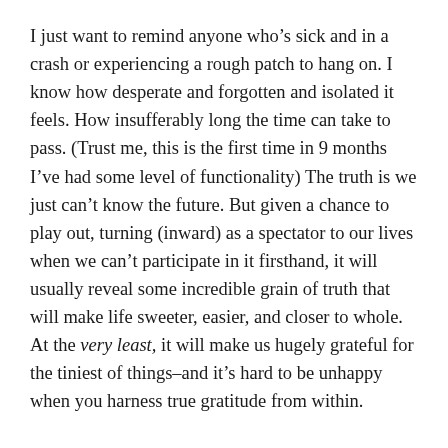I just want to remind anyone who's sick and in a crash or experiencing a rough patch to hang on. I know how desperate and forgotten and isolated it feels. How insufferably long the time can take to pass. (Trust me, this is the first time in 9 months I've had some level of functionality) The truth is we just can't know the future. But given a chance to play out, turning (inward) as a spectator to our lives when we can't participate in it firsthand, it will usually reveal some incredible grain of truth that will make life sweeter, easier, and closer to whole. At the very least, it will make us hugely grateful for the tiniest of things–and it's hard to be unhappy when you harness true gratitude from within.

So what does the letup of a nine-month crash finally